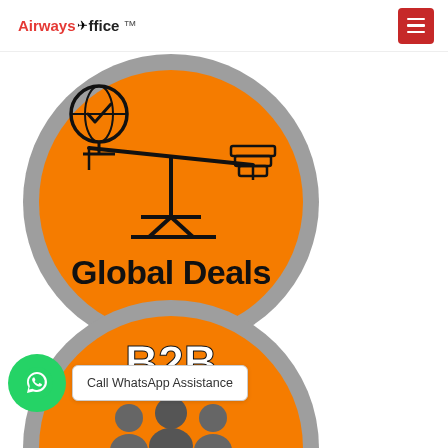Airways Office
[Figure (illustration): Orange circle with gray border showing a balance/scale illustration: left pan has an airplane globe icon, right pan has stacked items. Text reads 'Global Deals' inside the circle.]
[Figure (illustration): Orange circle with gray border showing bold text 'B2B' and silhouettes of people below, partially cut off at bottom.]
Call WhatsApp Assistance